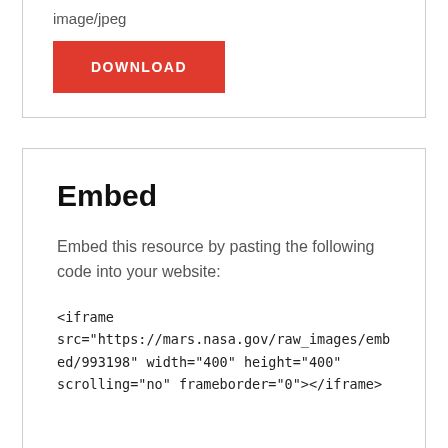image/jpeg
DOWNLOAD
Embed
Embed this resource by pasting the following code into your website:
<iframe src="https://mars.nasa.gov/raw_images/embed/993198" width="400" height="400" scrolling="no" frameborder="0"></iframe>
More Like This